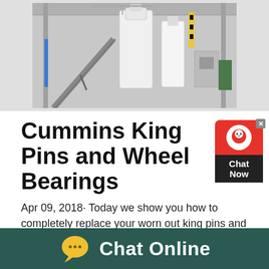[Figure (photo): Industrial factory/plant interior showing large white machinery, conveyors, and steel structure]
Cummins King Pins and Wheel Bearings
Apr 09, 2018· Today we show you how to completely replace your worn out king pins and wheel bearings! Tyler, Dana 60 King Pin Spring Eliminator Kit Install Crane Axle Duration: 5:56 Crane Axle 6,431 viewsOct 28, 2012· Changed Hub and now loud grinding/rubbing noise on same side? there is a top sliding pin that you can put in and then push the caliper onto the bracket and just tighten the bottom pin Well I loosened the top one to get the
[Figure (other): Chat widget button with red background, white headset icon, and Chat Now text on dark background]
[Figure (other): Chat Online footer bar with yellow speech bubble icon and white text on dark teal background]